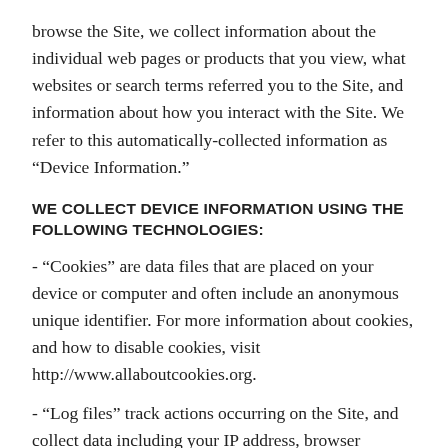browse the Site, we collect information about the individual web pages or products that you view, what websites or search terms referred you to the Site, and information about how you interact with the Site. We refer to this automatically-collected information as “Device Information.”
WE COLLECT DEVICE INFORMATION USING THE FOLLOWING TECHNOLOGIES:
- “Cookies” are data files that are placed on your device or computer and often include an anonymous unique identifier. For more information about cookies, and how to disable cookies, visit http://www.allaboutcookies.org.
- “Log files” track actions occurring on the Site, and collect data including your IP address, browser